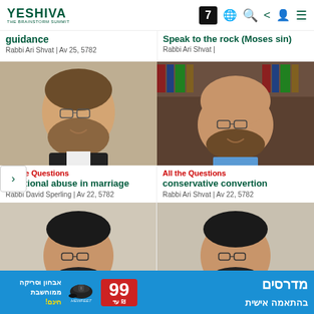YESHIVA | 7 | globe | search | share | user | menu
guidance
Rabbi Ari Shvat | Av 25, 5782
Speak to the rock (Moses sin)
Rabbi Ari Shvat |
[Figure (photo): Portrait of a rabbi with glasses and beard, smiling, in front of a stone wall]
[Figure (photo): Portrait of a rabbi with glasses and beard, smiling, in front of bookshelves]
All the Questions
emotional abuse in marriage
Rabbi David Sperling | Av 22, 5782
All the Questions
conservative convertion
Rabbi Ari Shvat | Av 22, 5782
[Figure (photo): Portrait of a young rabbi with glasses and dark beard, smiling, against neutral background]
[Figure (photo): Portrait of a young rabbi with glasses and dark beard, smiling, against neutral background]
אבחון וסריקה ממוחשבת חינם! | 99 ₪ | מדרסים בהתאמה אישית